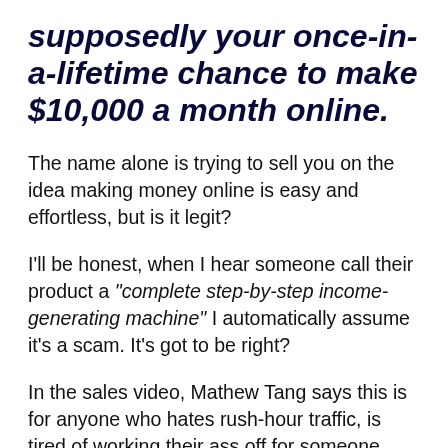supposedly your once-in-a-lifetime chance to make $10,000 a month online.
The name alone is trying to sell you on the idea making money online is easy and effortless, but is it legit?
I'll be honest, when I hear someone call their product a "complete step-by-step income-generating machine" I automatically assume it's a scam. It's got to be right?
In the sales video, Mathew Tang says this is for anyone who hates rush-hour traffic, is tired of working their ass off for someone